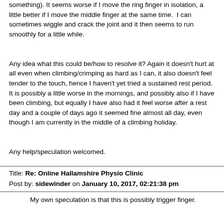something). It seems worse if I move the ring finger in isolation, a little better if I move the middle finger at the same time. I can sometimes wiggle and crack the joint and it then seems to run smoothly for a little while.
Any idea what this could be/how to resolve it? Again it doesn't hurt at all even when climbing/crimping as hard as I can, it also doesn't feel tender to the touch, hence I haven't yet tried a sustained rest period. It is possibly a little worse in the mornings, and possibly also if I have been climbing, but equally I have also had it feel worse after a rest day and a couple of days ago it seemed fine almost all day, even though I am currently in the middle of a climbing holiday.
Any help/speculation welcomed.
Title: Re: Online Hallamshire Physio Clinic
Post by: sidewinder on January 10, 2017, 02:21:38 pm
My own speculation is that this is possibly trigger finger.
Title: Re: Online Hallamshire Physio Clinic
Post by: twoshoes on January 17, 2017, 07:09:44 am
Hi guys,
I've got golfers elbow, or something very similar. It's at the point where it hurts to wash my hands or face. I've seen a